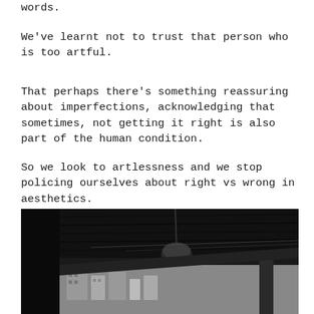words.
We've learnt not to trust that person who is too artful.
That perhaps there's something reassuring about imperfections, acknowledging that sometimes, not getting it right is also part of the human condition.
So we look to artlessness and we stop policing ourselves about right vs wrong in aesthetics.
[Figure (photo): Black and white photograph taken from below looking up at a dark wooden ceiling/overhang structure with a hanging round lamp visible, and urban buildings visible in the background through a gap.]